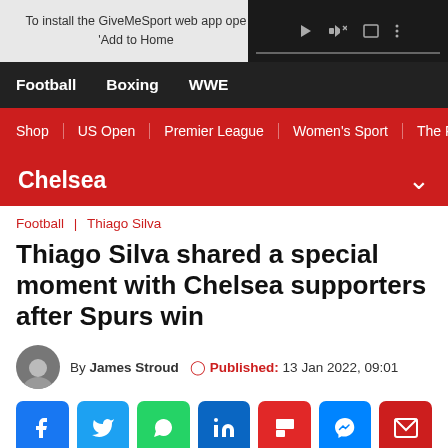To install the GiveMeSport web app open... 'Add to Home...
Football | Boxing | WWE
Shop | US Open | Premier League | Women's Sport | The Fo
Chelsea
Football | Thiago Silva
Thiago Silva shared a special moment with Chelsea supporters after Spurs win
By James Stroud  Published: 13 Jan 2022, 09:01
[Figure (other): Social sharing icons: Facebook, Twitter, WhatsApp, LinkedIn, Flipboard, Messenger, Email]